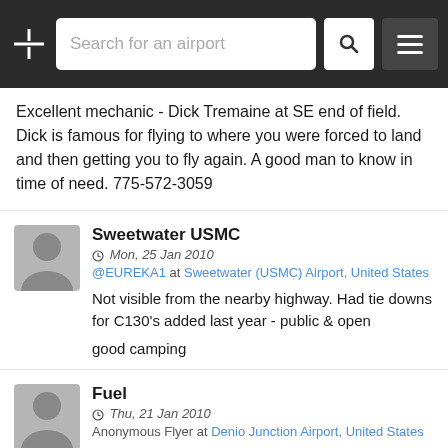Search for an airport
Excellent mechanic - Dick Tremaine at SE end of field. Dick is famous for flying to where you were forced to land and then getting you to fly again. A good man to know in time of need. 775-572-3059
Sweetwater USMC
Mon, 25 Jan 2010
@EUREKA1 at Sweetwater (USMC) Airport, United States
Not visible from the nearby highway. Had tie downs for C130's added last year - public & open

good camping
Fuel
Thu, 21 Jan 2010
Anonymous Flyer at Denio Junction Airport, United States
So far the mogas there has been found to be alcohol free. The store and cafe are fun, hot springs to the north.
They don not seem concerned with a taxi to the pumps